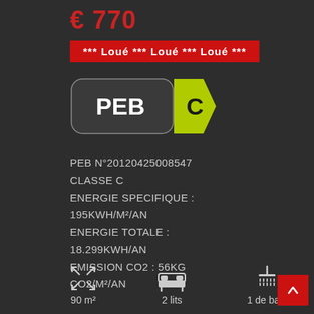€ 770
*** Loué *** Loué *** Loué ***
[Figure (logo): PEB energy rating label showing class C, dark grey rounded rectangle with 'PEB' text and a yellow-green arrow pointing right with 'C']
PEB N°20120425008547
CLASSE C
ENERGIE SPECIFIQUE :
195KWH/M²/AN
ENERGIE TOTALE :
18.299KWH/AN
EMISSION CO2 : 56KG
CO2/M²/AN
[Figure (infographic): Three icons: resize arrows icon for 90 m², bed icon for 2 lits, shower icon for 1 de bain]